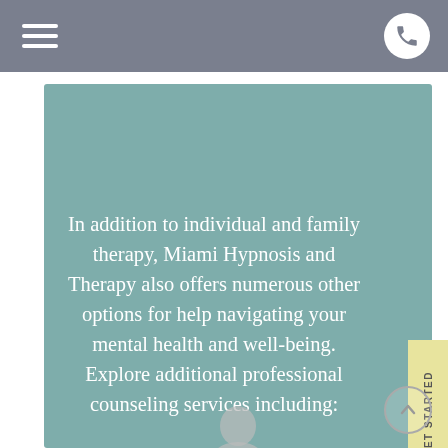[Figure (screenshot): Mobile website screenshot showing navigation bar with hamburger menu and phone icon on grey background, a teal card with centered white text, a yellow GET STARTED vertical tab, and a scroll-up chevron button at bottom right.]
In addition to individual and family therapy, Miami Hypnosis and Therapy also offers numerous other options for help navigating your mental health and well-being. Explore additional professional counseling services including: